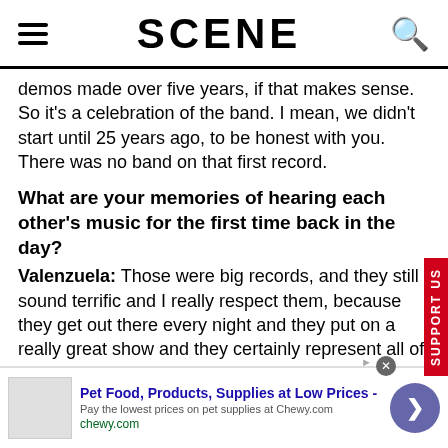SCENE
demos made over five years, if that makes sense. So it's a celebration of the band. I mean, we didn't start until 25 years ago, to be honest with you. There was no band on that first record.
What are your memories of hearing each other's music for the first time back in the day?
Valenzuela: Those were big records, and they still sound terrific and I really respect them, because they get out there every night and they put on a really great show and they certainly represent all of their hits..
Roland: I remember the "Hey Jealousy" video for the first
[Figure (other): Advertisement banner for Chewy.com: Pet Food, Products, Supplies at Low Prices - Pay the lowest prices on pet supplies at Chewy.com]